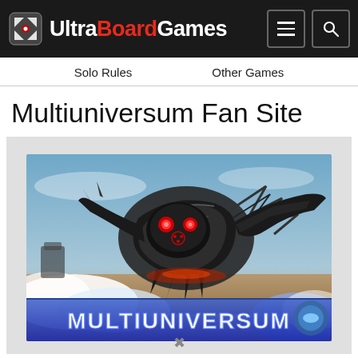Ultra BoardGames [nav: Solo Rules | Other Games]
Multiuniversum Fan Site
[Figure (illustration): Multiuniversum board game box art showing a large mechanical creature/boss against a sky backdrop with clouds, with the game title 'MULTIUNIVERSUM' displayed at the bottom in bold white letters.]